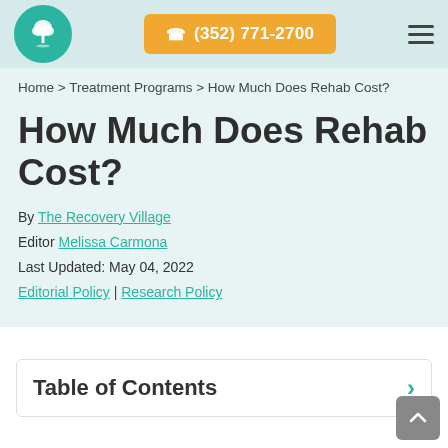(352) 771-2700
Home > Treatment Programs > How Much Does Rehab Cost?
How Much Does Rehab Cost?
By The Recovery Village
Editor Melissa Carmona
Last Updated: May 04, 2022
Editorial Policy | Research Policy
Table of Contents